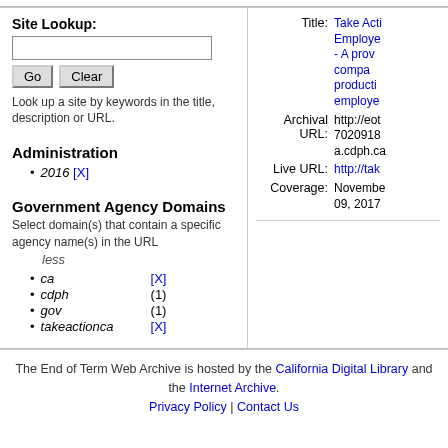Site Lookup:
Look up a site by keywords in the title, description or URL.
Administration
2016 [X]
Government Agency Domains
Select domain(s) that contain a specific agency name(s) in the URL
less
ca [X]
cdph (1)
gov (1)
takeactionca [X]
Title: Take Acti... Employe... - A prov... compa... producti... employe...
Archival URL: http://eot...7020918...a.cdph.ca...
Live URL: http://tak...
Coverage: November 09, 2017
The End of Term Web Archive is hosted by the California Digital Library and the Internet Archive. Privacy Policy | Contact Us